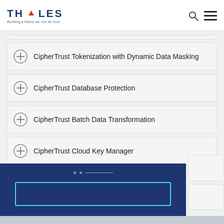THALES - Building a future we can all trust
CipherTrust Tokenization with Dynamic Data Masking
CipherTrust Database Protection
CipherTrust Batch Data Transformation
CipherTrust Cloud Key Manager
[Figure (screenshot): Dark blue overlay panel with dots, a horizontal line, and a cyan-bordered rectangular button]